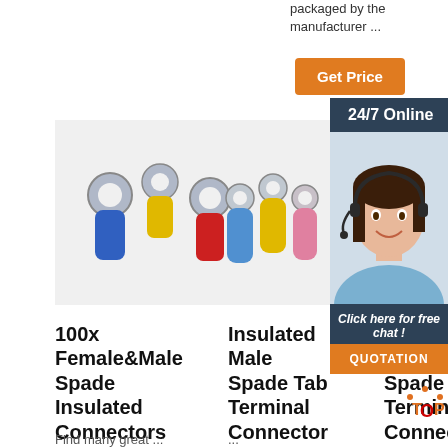packaged by the manufacturer ...
Get Price
24/7 Online
[Figure (photo): Customer service agent woman wearing headset, smiling]
Click here for free chat !
QUOTATION
[Figure (photo): Product images: ring terminal connectors in blue, yellow, red; butt connectors in blue, yellow, pink; and black heat shrink tubing]
100x Female&Male Spade Insulated Connectors Crimp ...
Insulated Male Spade Tab Terminal Connector Terminals
Insu Male Spade Tab Terminal Connecto Terminals
Find many great ...
...